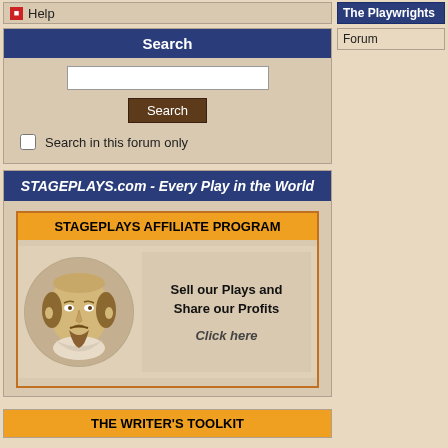Help
The Playwrights
Search
Search in this forum only
STAGEPLAYS.com - Every Play in the World
Forum
[Figure (other): Affiliate program banner with Shakespeare portrait circle image and text: STAGEPLAYS AFFILIATE PROGRAM / Sell our Plays and Share our Profits / Click here]
THE WRITER'S TOOLKIT